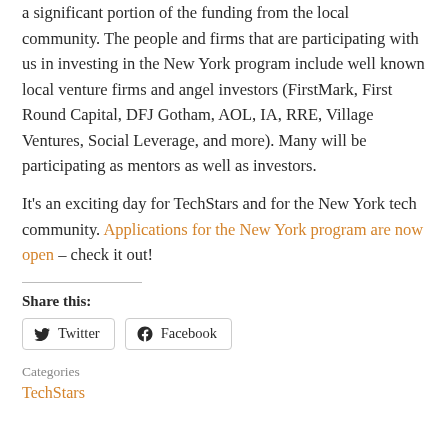a significant portion of the funding from the local community. The people and firms that are participating with us in investing in the New York program include well known local venture firms and angel investors (FirstMark, First Round Capital, DFJ Gotham, AOL, IA, RRE, Village Ventures, Social Leverage, and more). Many will be participating as mentors as well as investors.
It's an exciting day for TechStars and for the New York tech community. Applications for the New York program are now open – check it out!
Share this:
Twitter | Facebook
Categories
TechStars